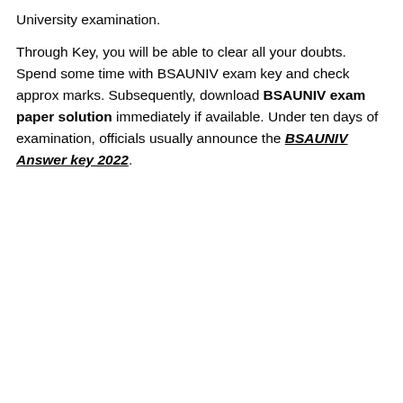University examination.
Through Key, you will be able to clear all your doubts. Spend some time with BSAUNIV exam key and check approx marks. Subsequently, download BSAUNIV exam paper solution immediately if available. Under ten days of examination, officials usually announce the BSAUNIV Answer key 2022.